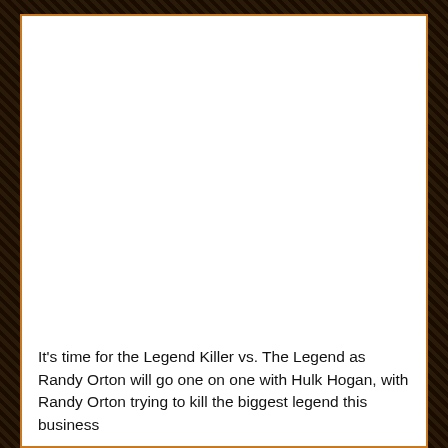It's time for the Legend Killer vs. The Legend as Randy Orton will go one on one with Hulk Hogan, with Randy Orton trying to kill the biggest legend this business...